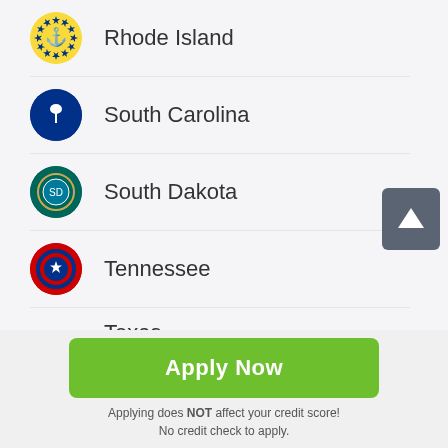Rhode Island
South Carolina
South Dakota
Tennessee
Texas
Utah
[Figure (other): Scroll-to-top button with upward arrow icon]
Apply Now
Applying does NOT affect your credit score! No credit check to apply.